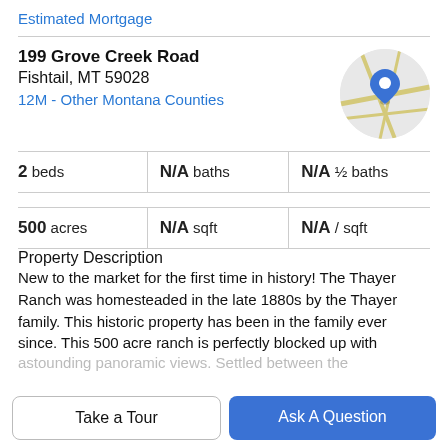Estimated Mortgage
199 Grove Creek Road
Fishtail, MT 59028
12M - Other Montana Counties
[Figure (map): Circular map thumbnail with a blue location pin marker]
2 beds | N/A baths | N/A ½ baths
500 acres | N/A sqft | N/A / sqft
Property Description
New to the market for the first time in history! The Thayer Ranch was homesteaded in the late 1880s by the Thayer family. This historic property has been in the family ever since. This 500 acre ranch is perfectly blocked up with astounding panoramic views. Settled between the
Take a Tour
Ask A Question